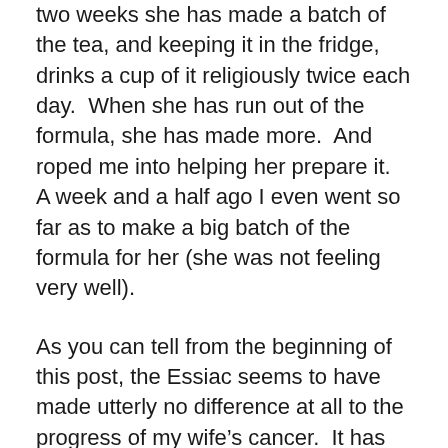two weeks she has made a batch of the tea, and keeping it in the fridge, drinks a cup of it religiously twice each day.  When she has run out of the formula, she has made more.  And roped me into helping her prepare it.  A week and a half ago I even went so far as to make a big batch of the formula for her (she was not feeling very well).
As you can tell from the beginning of this post, the Essiac seems to have made utterly no difference at all to the progress of my wife's cancer.  It has gone from Stage 2 (eminently treatable) to where it is now, Stage 4 (virtually untreatable and ultimately fatal), apparently without even pausing to think about it.
And ironically, my wife plans to continue drinking the Essiac when she gets home from the hospital.  And I will not object, because I don't think it has hurt, and I'm certain